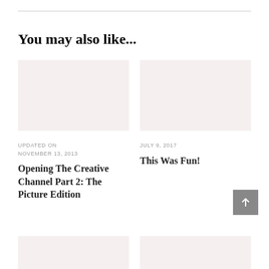You may also like...
[Figure (photo): Placeholder image box (light pink/beige background) for article thumbnail, left column]
[Figure (photo): Placeholder image box (light pink/beige background) for article thumbnail, right column]
UPDATED ON
NOVEMBER 13, 2013
JULY 9, 2017
Opening The Creative Channel Part 2: The Picture Edition
This Was Fun!
[Figure (photo): Placeholder image box (light pink/beige background) for article thumbnail, bottom left]
[Figure (photo): Placeholder image box (light pink/beige background) for article thumbnail, bottom right]